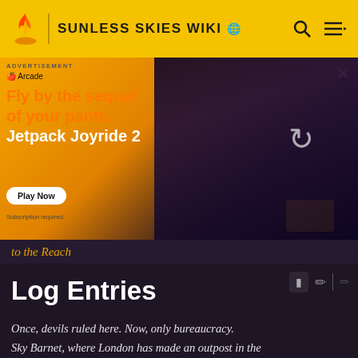SUNLESS SKIES WIKI
[Figure (screenshot): Advertisement for Jetpack Joyride 2 on Apple Arcade showing animated characters flying with jetpacks]
to the Reach
Log Entries
Once, devils ruled here. Now, only bureaucracy. Sky Barnet, where London has made an outpost in the kingdom of the dead. The entry to the Blue Kingdom and the one place here where the living almost outnumber the dead.